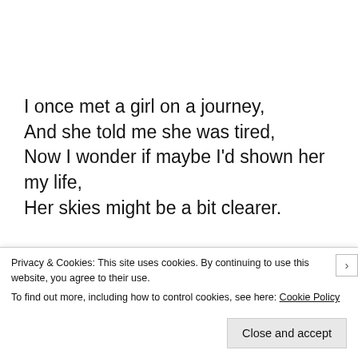I once met a girl on a journey,
And she told me she was tired,
Now I wonder if maybe I'd shown her my life,
Her skies might be a bit clearer.

Years have gone by, since my encounter
And I hope her grey clouds have departed;
Privacy & Cookies: This site uses cookies. By continuing to use this website, you agree to their use.
To find out more, including how to control cookies, see here: Cookie Policy

[Close and accept]